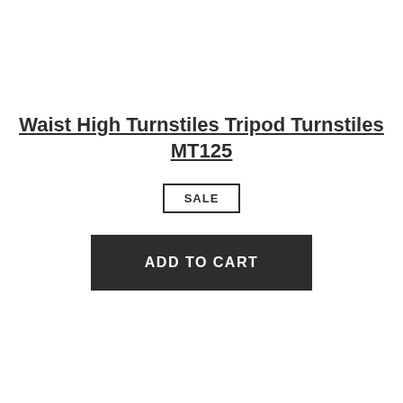Waist High Turnstiles Tripod Turnstiles MT125
SALE
ADD TO CART